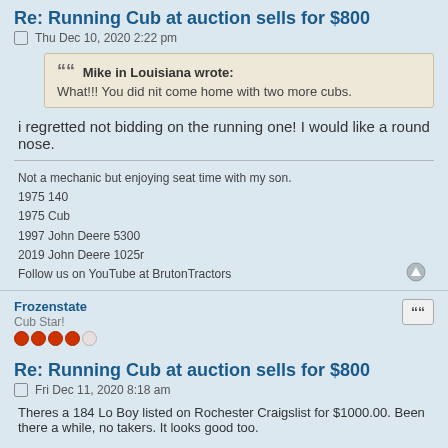Re: Running Cub at auction sells for $800
Thu Dec 10, 2020 2:22 pm
Mike in Louisiana wrote:
What!!! You did nit come home with two more cubs.
i regretted not bidding on the running one! I would like a round nose.
Not a mechanic but enjoying seat time with my son.
1975 140
1975 Cub
1997 John Deere 5300
2019 John Deere 1025r
Follow us on YouTube at BrutonTractors
Frozenstate
Cub Star!
Re: Running Cub at auction sells for $800
Fri Dec 11, 2020 8:18 am
Theres a 184 Lo Boy listed on Rochester Craigslist for $1000.00. Been there a while, no takers. It looks good too.